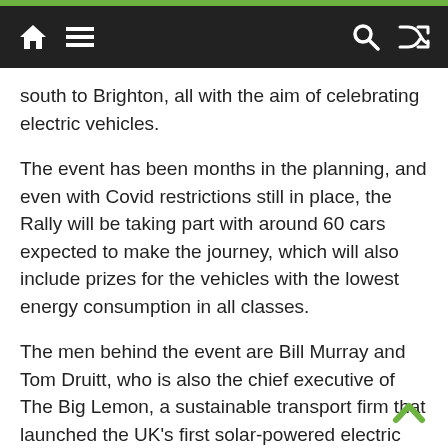Navigation bar with home, menu, search, and shuffle icons
south to Brighton, all with the aim of celebrating electric vehicles.
The event has been months in the planning, and even with Covid restrictions still in place, the Rally will be taking part with around 60 cars expected to make the journey, which will also include prizes for the vehicles with the lowest energy consumption in all classes.
The men behind the event are Bill Murray and Tom Druitt, who is also the chief executive of The Big Lemon, a sustainable transport firm that launched the UK's first solar-powered electric bus back in 2017.
As well as celebrating all sorts of electric vehicles,